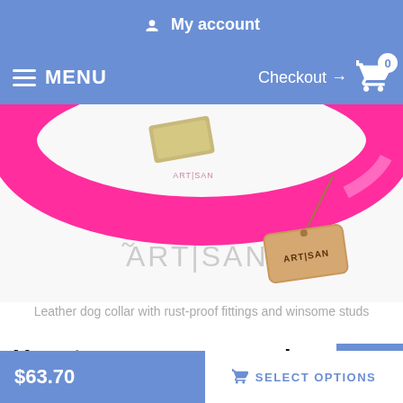My account
MENU  Checkout → 0
[Figure (photo): Pink leather dog collar by Artisan brand with rust-proof metal fittings, shown with a kraft paper hang tag bearing the Artisan logo]
Leather dog collar with rust-proof fittings and winsome studs
How to measure your dog fo good fit Collar:
$63.70
SELECT OPTIONS